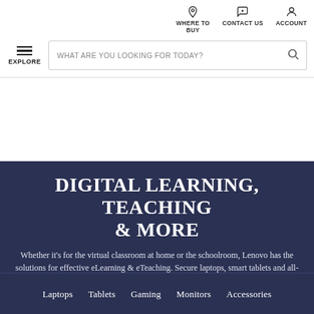WHERE TO BUY | CONTACT US | ACCOUNT
[Figure (screenshot): Search bar with EXPLORE hamburger menu and magnifying glass icon, placeholder text: WHAT ARE YOU LOOKING FOR TODAY?]
DIGITAL LEARNING, TEACHING & MORE
Whether it's for the virtual classroom at home or the schoolroom, Lenovo has the solutions for effective eLearning & eTeaching. Secure laptops, smart tablets and all-in-one PCs, monitors and accessories. Plus: everything you need to play! We all need fun and a little break to get us through the day…
Laptops
Tablets
Gaming
Monitors
Accessories